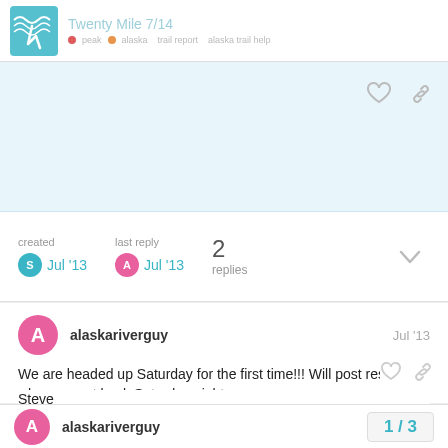Twenty Mile 7/14
[Figure (screenshot): Light blue highlighted summary bar area]
created Jul '13  last reply Jul '13  2 replies
alaskariverguy  Jul '13
We are headed up Saturday for the first time!!! Will post results when we get back Saturday night.

Steve
alaskariverguy  1 / 3